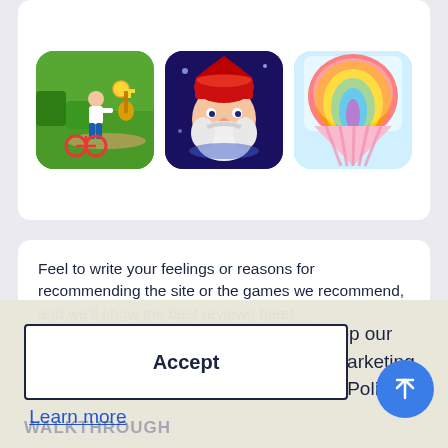[Figure (screenshot): Three mobile game app icons in a row: a garden chase game with green background, a king/gnome character game with dark purple background, and a snow cone/ice cream game with light blue background.]
Feel to write your feelings or reasons for recommending the site or the games we recommend, and we'll show the best reviews here!
If you have something to say about this app and make your own review - write to us. We are looking for talented app reviewers!
We use unpersonalized cookies to keep our site working and collect statistics for marketing purposes.See the Privacy and Cookie Policy  Learn more
Accept
WALKTHROUGH